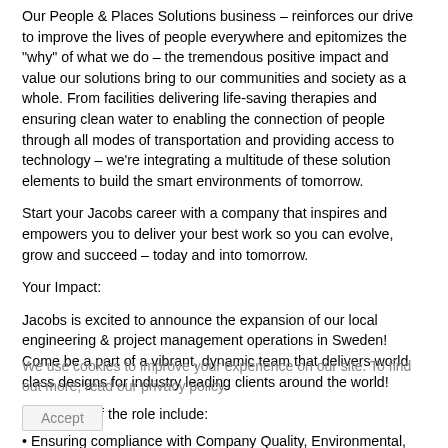Our People & Places Solutions business – reinforces our drive to improve the lives of people everywhere and epitomizes the "why" of what we do – the tremendous positive impact and value our solutions bring to our communities and society as a whole. From facilities delivering life-saving therapies and ensuring clean water to enabling the connection of people through all modes of transportation and providing access to technology – we're integrating a multitude of these solution elements to build the smart environments of tomorrow.
Start your Jacobs career with a company that inspires and empowers you to deliver your best work so you can evolve, grow and succeed – today and into tomorrow.
Your Impact:
Jacobs is excited to announce the expansion of our local engineering & project management operations in Sweden! Come be a part of a vibrant, dynamic team that delivers world class designs for industry leading clients around the world!
Key duties of the role include:
• Ensuring compliance with Company Quality, Environmental, Safety and Health procedures
• Defining, maintaining and monitoring project specific procedures and quality assurance plans
We use cookies to improve your experience on our site. To find out more, read our privacy policy.
Accept